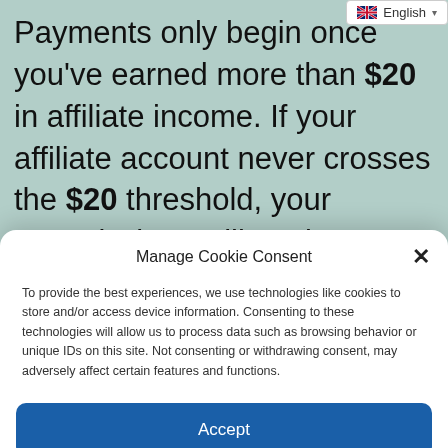Payments only begin once you've earned more than $20 in affiliate income. If your affiliate account never crosses the $20 threshold, your commissions will not be realized or paid. We are only responsible for paying accounts that have crossed the $20 threshold.
Manage Cookie Consent
To provide the best experiences, we use technologies like cookies to store and/or access device information. Consenting to these technologies will allow us to process data such as browsing behavior or unique IDs on this site. Not consenting or withdrawing consent, may adversely affect certain features and functions.
Accept